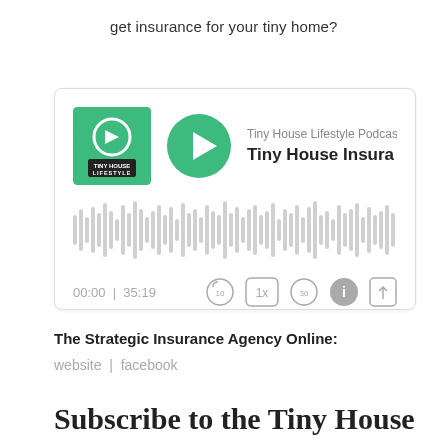get insurance for your tiny home?
[Figure (screenshot): Podcast player widget for Tiny House Lifestyle Podcast, episode 'Tiny House Insura...' with play button, waveform, time display 00:00 | 35:19, and playback controls]
The Strategic Insurance Agency Online:
website | facebook
Subscribe to the Tiny House